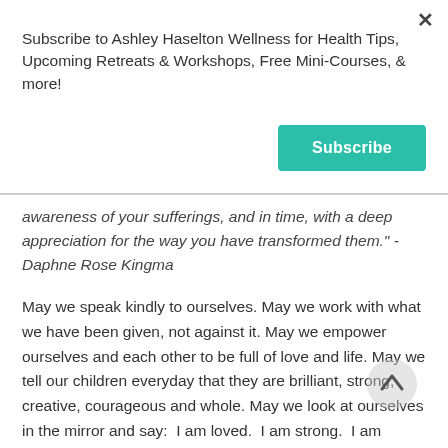Subscribe to Ashley Haselton Wellness for Health Tips, Upcoming Retreats & Workshops, Free Mini-Courses, & more!
Subscribe
awareness of your sufferings, and in time, with a deep appreciation for the way you have transformed them." -Daphne Rose Kingma
May we speak kindly to ourselves. May we work with what we have been given, not against it. May we empower ourselves and each other to be full of love and life. May we tell our children everyday that they are brilliant, strong, creative, courageous and whole. May we look at ourselves in the mirror and say:  I am loved.  I am strong.  I am beautiful. I am whole.